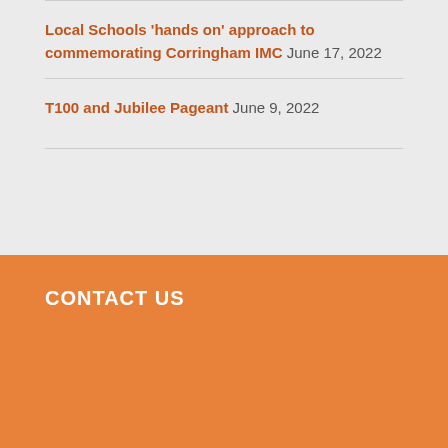Local Schools 'hands on' approach to commemorating Corringham IMC June 17, 2022
T100 and Jubilee Pageant June 9, 2022
CONTACT US